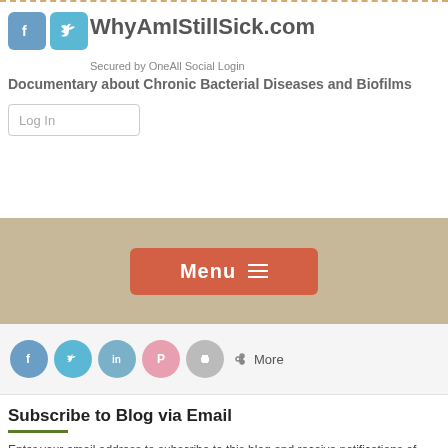WhyAmIStillSick.com
Secured by OneAll Social Login
Documentary about Chronic Bacterial Diseases and Biofilms
[Figure (screenshot): Log In button/box]
[Figure (screenshot): Menu navigation bar with hamburger icon on tan background]
[Figure (screenshot): Social share bar with Facebook, Twitter, LinkedIn, Pinterest, Print icons and More link, plus search icon]
Subscribe to Blog via Email
Enter your email address to subscribe to this blog and receive notifications of new posts by email.
Join 103 other subscribers
[Figure (screenshot): Email Address input field]